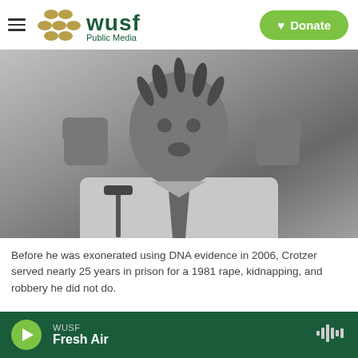WUSF Public Media — Donate
[Figure (photo): Black and white photo of a man in a suit and tie with dreadlocks, speaking at a podium with both fists raised, appearing to celebrate or speak passionately.]
Before he was exonerated using DNA evidence in 2006, Crotzer served nearly 25 years in prison for a 1981 rape, kidnapping, and robbery he did not do.
Governor Rick Scott has signed a bill into law that's
WUSF — Fresh Air